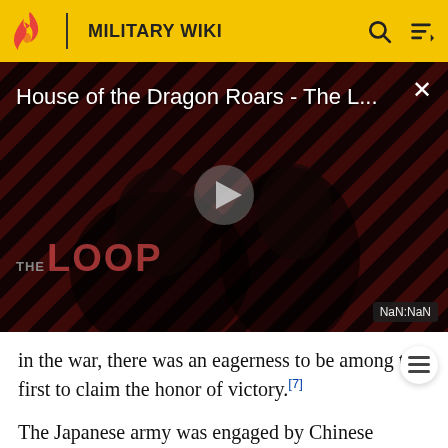MILITARY WIKI
[Figure (screenshot): Video thumbnail for 'House of the Dragon Roars - The L...' showing a dark scene with a play button overlay, diagonal red/black stripe background, 'THE LOOP' text, and NaN:NaN time display]
in the war, there was an eagerness to be among the first to claim the honor of victory.[7]
The Japanese army was engaged by Chinese soldiers on a number of occasions on the way to Nanking. As a